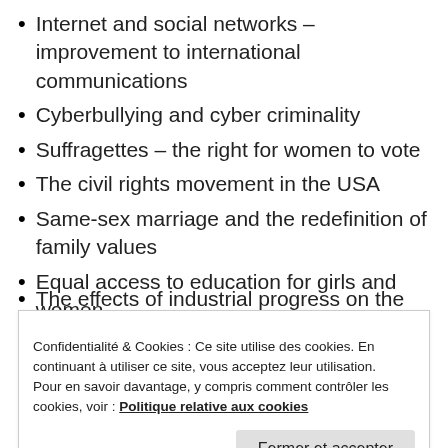Internet and social networks – improvement to international communications
Cyberbullying and cyber criminality
Suffragettes – the right for women to vote
The civil rights movement in the USA
Same-sex marriage and the redefinition of family values
Equal access to education for girls and women
The end to apartheid in South Africa
New techologies to produce energy and protect the environment
The effects of industrial progress on the
Confidentialité & Cookies : Ce site utilise des cookies. En continuant à utiliser ce site, vous acceptez leur utilisation.
Pour en savoir davantage, y compris comment contrôler les cookies, voir : Politique relative aux cookies
a more diverse and interesting world the role of false